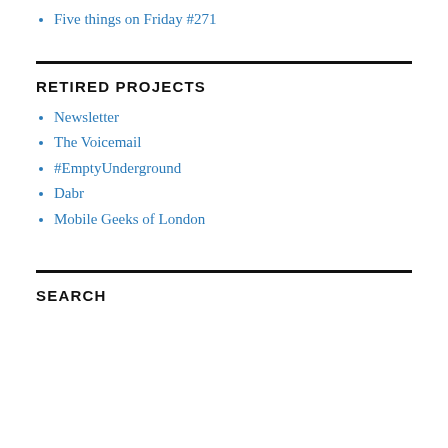Five things on Friday #271
RETIRED PROJECTS
Newsletter
The Voicemail
#EmptyUnderground
Dabr
Mobile Geeks of London
SEARCH